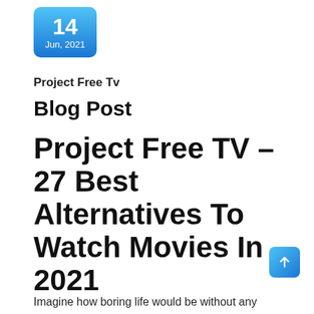[Figure (other): Date badge with gradient blue background showing '14' and 'Jun, 2021']
Project Free Tv
Blog Post
Project Free TV – 27 Best Alternatives To Watch Movies In 2021
Imagine how boring life would be without any